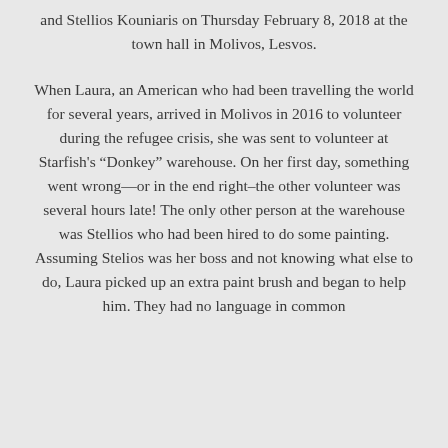and Stellios Kouniaris on Thursday February 8, 2018 at the town hall in Molivos, Lesvos.
When Laura, an American who had been travelling the world for several years, arrived in Molivos in 2016 to volunteer during the refugee crisis, she was sent to volunteer at Starfish's “Donkey” warehouse. On her first day, something went wrong—or in the end right–the other volunteer was several hours late! The only other person at the warehouse was Stellios who had been hired to do some painting. Assuming Stelios was her boss and not knowing what else to do, Laura picked up an extra paint brush and began to help him. They had no language in common